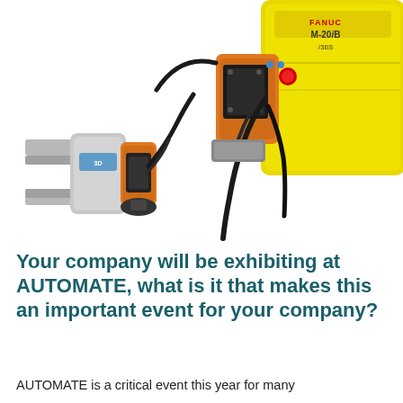[Figure (photo): Industrial robotic equipment photo showing two robot arm end effectors/tools. Left side shows a gray metal gripper/clamp attached to an orange and black robotic joint mechanism. Right side shows a yellow FANUC M-20iB/36S robot arm with orange and black tooling/end effector attached, with cables visible.]
Your company will be exhibiting at AUTOMATE, what is it that makes this an important event for your company?
AUTOMATE is a critical event this year for many